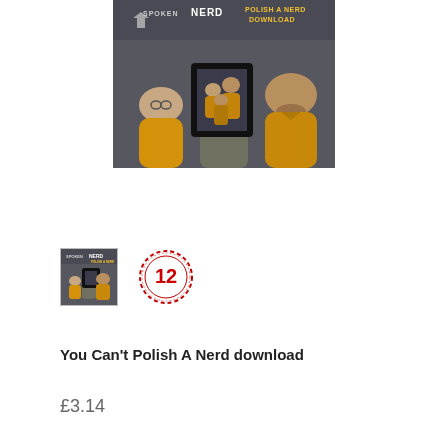[Figure (photo): Promotional cover art for 'You Can't Polish A Nerd' by Spoken Nerd. Shows three people in yellow/mustard shirts, one holding a framed picture of the same three people. Text reads 'Spoken Nerd', 'Polish A Nerd', 'Download'.]
[Figure (photo): Small thumbnail of the same Spoken Nerd cover art showing three people in yellow shirts.]
[Figure (other): UK age rating badge showing '12' rating in red on a circular logo with dotted border.]
You Can't Polish A Nerd download
£3.14